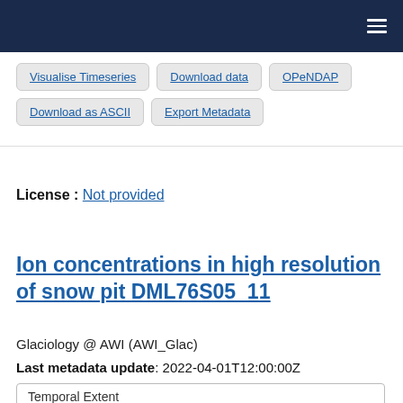Navigation header with hamburger menu
Visualise Timeseries | Download data | OPeNDAP | Download as ASCII | Export Metadata
License : Not provided
Ion concentrations in high resolution of snow pit DML76S05_11
Glaciology @ AWI (AWI_Glac)
Last metadata update: 2022-04-01T12:00:00Z
Temporal Extent
Start date: 2005-12-28T12:00:00Z
End date: 2005-12-28T12:00:00Z